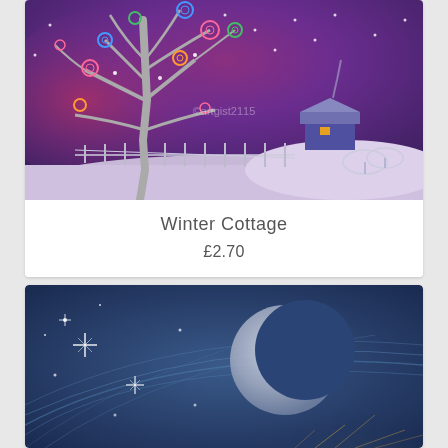[Figure (illustration): Painting of a winter cottage scene with a bare tree with colorful circular decorations, a small cottage in the background, a fence, and decorative plants in the snow under a purple/violet night sky.]
Winter Cottage
£2.70
[Figure (illustration): Painting of a crescent moon against a deep blue starry sky with sweeping arc lines and glowing stars.]